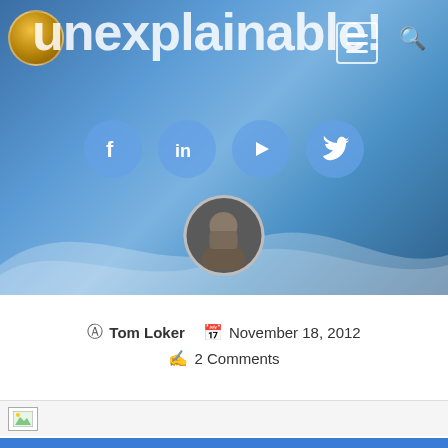[Figure (screenshot): Website header banner with blue gradient background, showing the text 'unexplainable!' in large white letters, a gold logo circle top-left, menu and search icons top-right, four social media circles (Facebook, LinkedIn, YouTube, Twitter) in the middle, a wave design at the bottom, and a circular avatar photo]
Tom Loker   November 18, 2012
2 Comments
[Figure (photo): Small image placeholder at bottom of page]